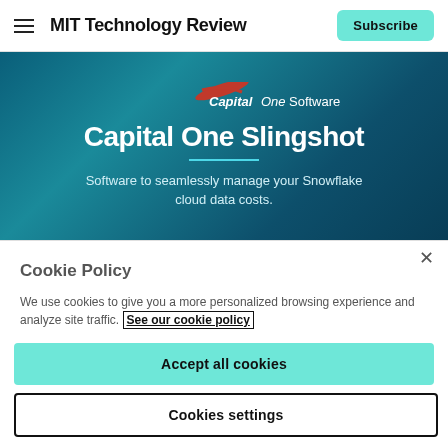MIT Technology Review
[Figure (illustration): Capital One Software advertisement banner showing 'Capital One Slingshot' product with text: Software to seamlessly manage your Snowflake cloud data costs.]
Cookie Policy
We use cookies to give you a more personalized browsing experience and analyze site traffic. See our cookie policy
Accept all cookies
Cookies settings